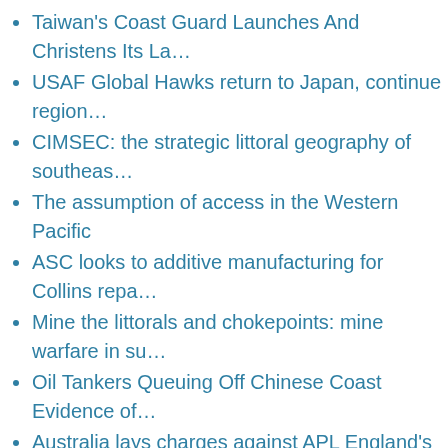Taiwan's Coast Guard Launches And Christens Its La…
USAF Global Hawks return to Japan, continue region…
CIMSEC: the strategic littoral geography of southeas…
The assumption of access in the Western Pacific
ASC looks to additive manufacturing for Collins repa…
Mine the littorals and chokepoints: mine warfare in su…
Oil Tankers Queuing Off Chinese Coast Evidence of…
Australia lays charges against APL England's master…
EUROPE
European maritime force supports NATO patrols in M…
Russia's Northern Fleet Commander announces war…
French Navy's Sixth FREMM Frigate Normandie Ent…
Sevmash Shipyard Handed Over Borei-A-class SSB…
6 Types Of Submarines: The Russian Navy's Extrem…